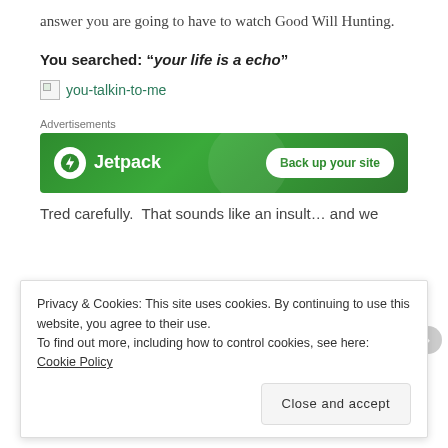answer you are going to have to watch Good Will Hunting.
You searched: “your life is a echo”
[Figure (illustration): Broken image placeholder with link text 'you-talkin-to-me' in teal/green color]
[Figure (screenshot): Jetpack advertisement banner with green background. Left side shows Jetpack logo (lightning bolt icon in white circle) and 'Jetpack' text in white. Right side shows 'Back up your site' button in white with green text.]
Tred carefully.  That sounds like an insult... and we
Privacy & Cookies: This site uses cookies. By continuing to use this website, you agree to their use.
To find out more, including how to control cookies, see here: Cookie Policy
Close and accept